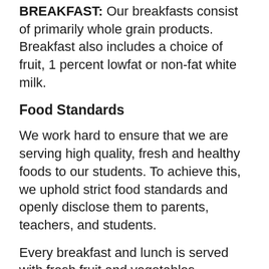BREAKFAST: Our breakfasts consist of primarily whole grain products. Breakfast also includes a choice of fruit, 1 percent lowfat or non-fat white milk.
Food Standards
We work hard to ensure that we are serving high quality, fresh and healthy foods to our students. To achieve this, we uphold strict food standards and openly disclose them to parents, teachers, and students.
Every breakfast and lunch is served with fresh fruit and vegetables.
Our milk is rbst and hormone-free and our meats are hormone and antibiotic free.
Our food is prepared daily, we do not serve fried, overly processed, or microwaved food.